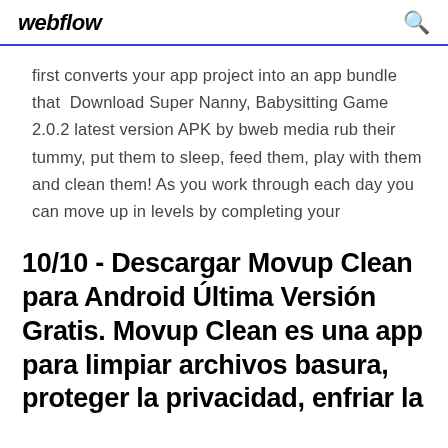webflow
first converts your app project into an app bundle that  Download Super Nanny, Babysitting Game 2.0.2 latest version APK by bweb media rub their tummy, put them to sleep, feed them, play with them and clean them! As you work through each day you can move up in levels by completing your
10/10 - Descargar Movup Clean para Android Última Versión Gratis. Movup Clean es una app para limpiar archivos basura, proteger la privacidad, enfriar la